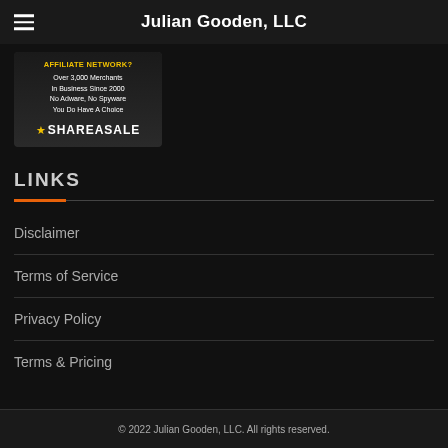Julian Gooden, LLC
[Figure (illustration): ShareASale affiliate network advertisement banner with text: AFFILIATE NETWORK?, Over 3,000 Merchants, In Business Since 2000, No Adware, No Spyware, You Do Have A Choice, and the ShareASale logo with a star.]
LINKS
Disclaimer
Terms of Service
Privacy Policy
Terms & Pricing
© 2022 Julian Gooden, LLC. All rights reserved.